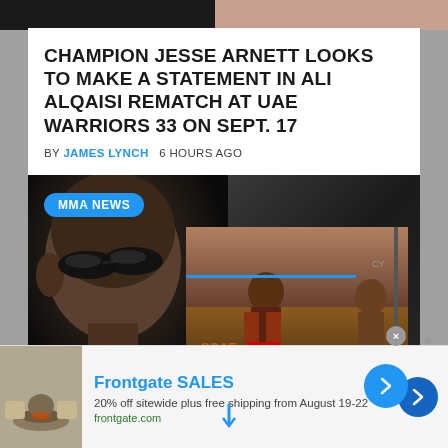[Figure (photo): Top strip showing two fighter photos side by side — left dark/shadowy, right showing tattooed torso]
CHAMPION JESSE ARNETT LOOKS TO MAKE A STATEMENT IN ALI ALQAISI REMATCH AT UAE WARRIORS 33 ON SEPT. 17
BY JAMES LYNCH   6 HOURS AGO
[Figure (photo): MMA news section with badge 'MMA NEWS' overlaid on dark background showing a close-up fighter face on left and an action fight photo on right with a navigation arrow button]
Frontgate SALES
20% off sitewide plus free shipping from August 19-22
frontgate.com